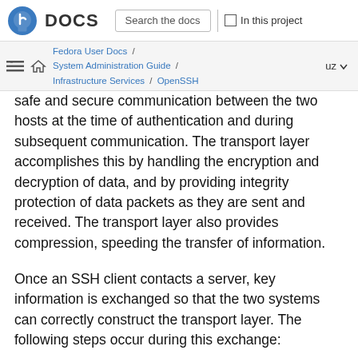Fedora DOCS — Search the docs | In this project
Fedora User Docs / System Administration Guide / Infrastructure Services / OpenSSH  uz
safe and secure communication between the two hosts at the time of authentication and during subsequent communication. The transport layer accomplishes this by handling the encryption and decryption of data, and by providing integrity protection of data packets as they are sent and received. The transport layer also provides compression, speeding the transfer of information.
Once an SSH client contacts a server, key information is exchanged so that the two systems can correctly construct the transport layer. The following steps occur during this exchange: